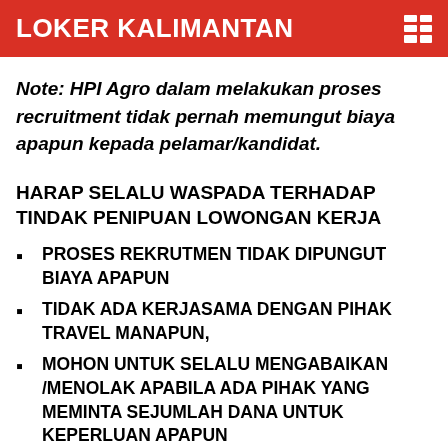LOKER KALIMANTAN
Note: HPI Agro dalam melakukan proses recruitment tidak pernah memungut biaya apapun kepada pelamar/kandidat.
HARAP SELALU WASPADA TERHADAP TINDAK PENIPUAN LOWONGAN KERJA
PROSES REKRUTMEN TIDAK DIPUNGUT BIAYA APAPUN
TIDAK ADA KERJASAMA DENGAN PIHAK TRAVEL MANAPUN,
MOHON UNTUK SELALU MENGABAIKAN /MENOLAK APABILA ADA PIHAK YANG MEMINTA SEJUMLAH DANA UNTUK KEPERLUAN APAPUN